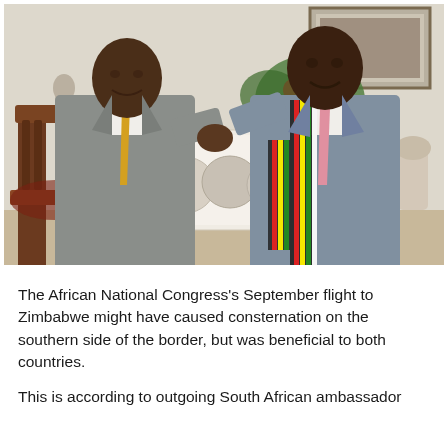[Figure (photo): Two men in suits standing together smiling and shaking/clasping hands. Left man wears a grey suit with yellow tie. Right man wears a grey suit with pink tie and a Zimbabwe flag-colored scarf (black, red, yellow, green, white stripes). Background shows a formal room with ornate furniture, flowers, and framed artwork.]
The African National Congress's September flight to Zimbabwe might have caused consternation on the southern side of the border, but was beneficial to both countries.
This is according to outgoing South African ambassador